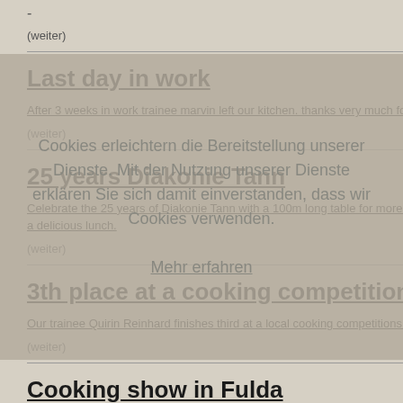-
(weiter)
Last day in work
After 3 weeks in work trainee marvin left our kitchen. thanks very much for your commitment.
(weiter)
25 years Diakonie Tann
Celebrate the 25 years of Diakonie Tann with a 100m long table for more then 300 people at the 5 june 2016. Enjoy an varied afternoon with a delicious lunch.
(weiter)
3th place at a cooking competition
Our trainee Quirin Reinhard finishes third at a local cooking competitions. For more information follow the link below.
(weiter)
Cooking show in Fulda
Junior chef Benjamin cooked at the "Weltdaibetes-Tag" in Fulda, Herz-Jesu-Krankenhaus, Wednesday 16.11.2016.